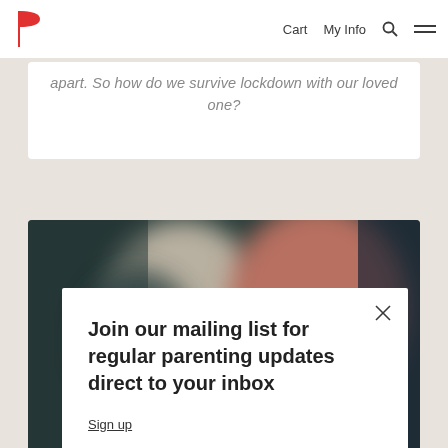Cart  My Info  [search icon]  [menu icon]
apart. So how do we survive lockdown with our loved one?
[Figure (photo): Blurred photo of two people, likely a couple or parent and child, with dark teal/blue and warm brown tones.]
Join our mailing list for regular parenting updates direct to your inbox
Sign up